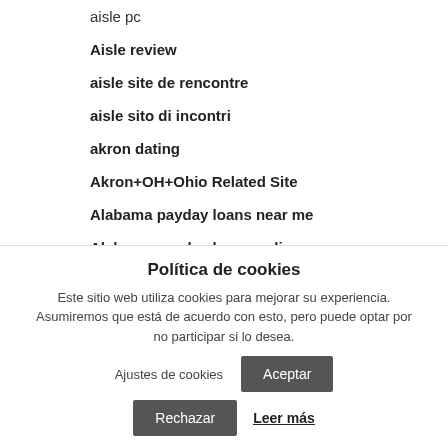aisle pc
Aisle review
aisle site de rencontre
aisle sito di incontri
akron dating
Akron+OH+Ohio Related Site
Alabama payday loans near me
Alabama payday loans online
Alabama_Haleyville payday loans
Política de cookies
Este sitio web utiliza cookies para mejorar su experiencia. Asumiremos que está de acuerdo con esto, pero puede optar por no participar si lo desea.
Ajustes de cookies
Aceptar
Rechazar
Leer más